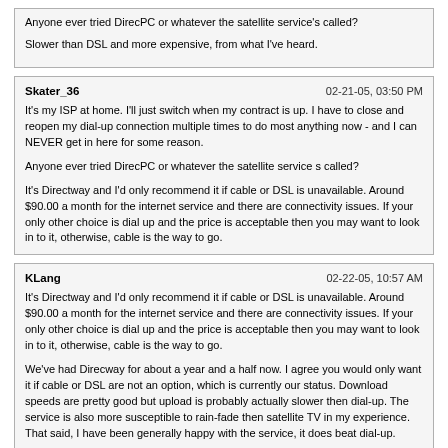Anyone ever tried DirecPC or whatever the satellite service's called?

Slower than DSL and more expensive, from what I've heard.
Skater_36   02-21-05, 03:50 PM

It's my ISP at home. I'll just switch when my contract is up. I have to close and reopen my dial-up connection multiple times to do most anything now - and I can NEVER get in here for some reason.

Anyone ever tried DirecPC or whatever the satellite service s called?

It's Directway and I'd only recommend it if cable or DSL is unavailable. Around $90.00 a month for the internet service and there are connectivity issues. If your only other choice is dial up and the price is acceptable then you may want to look in to it, otherwise, cable is the way to go.
KLang   02-22-05, 10:57 AM

It's Directway and I'd only recommend it if cable or DSL is unavailable. Around $90.00 a month for the internet service and there are connectivity issues. If your only other choice is dial up and the price is acceptable then you may want to look in to it, otherwise, cable is the way to go.

We've had Direcway for about a year and a half now. I agree you would only want it if cable or DSL are not an option, which is currently our status. Download speeds are pretty good but upload is probably actually slower then dial-up. The service is also more susceptible to rain-fade then satellite TV in my experience. That said, I have been generally happy with the service, it does beat dial-up.
Powered by vBulletin® Version 4.2.5 Copyright © 2022 vBulletin Solutions Inc. All rights reserved.